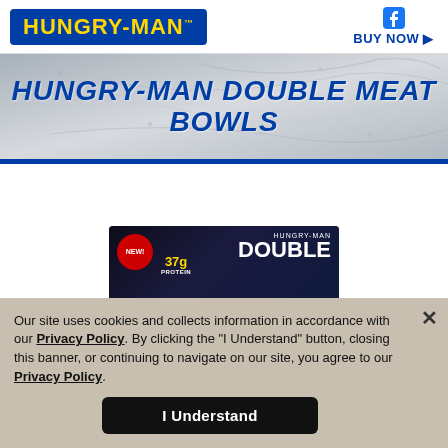[Figure (logo): Hungry-Man brand logo — yellow text on dark blue background with trademark symbol]
[Figure (logo): Facebook social media icon (dark blue square with white f)]
BUY NOW ▶
HUNGRY-MAN DOUBLE MEAT BOWLS
[Figure (photo): Hungry-Man Double Meat Bowls product box on a light gray background. Box is dark navy/black with NEW! badge in red circle, 37g Protein label in yellow, and HUNGRY-MAN DOUBLE text in white.]
Our site uses cookies and collects information in accordance with our Privacy Policy. By clicking the "I Understand" button, closing this banner, or continuing to navigate on our site, you agree to our Privacy Policy.